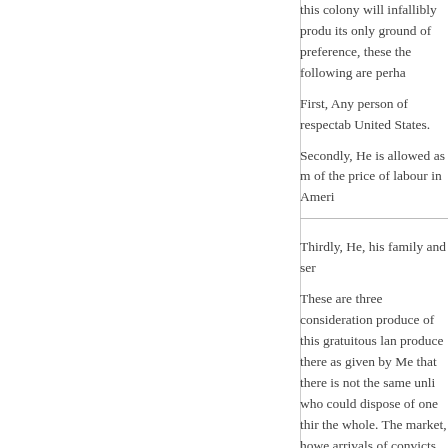this colony will infallibly produ its only ground of preference, these the following are perha
First, Any person of respectab United States.
Secondly, He is allowed as m of the price of labour in Ameri
Thirdly, He, his family and ser
These are three consideration produce of this gratuitous lan produce there as given by Me that there is not the same unli who could dispose of one thir the whole. The market, howe arrivals of convicts, that have considerably, that there has a all articles of foreign growth a